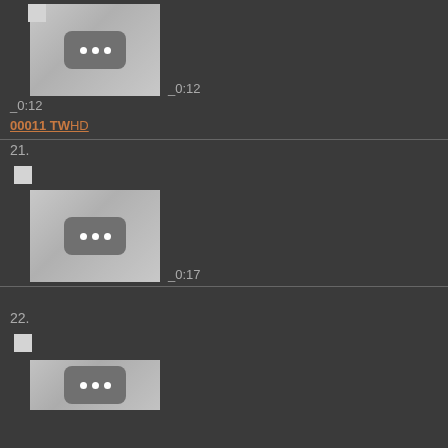[Figure (screenshot): Video thumbnail with play icon (three dots) for item 20, duration _0:12]
_0:12
00011 TWHD
21.
[Figure (screenshot): Video thumbnail with play icon (three dots) for item 21, duration _0:17]
_0:17
22.
[Figure (screenshot): Partial video thumbnail for item 22 (cropped at bottom)]